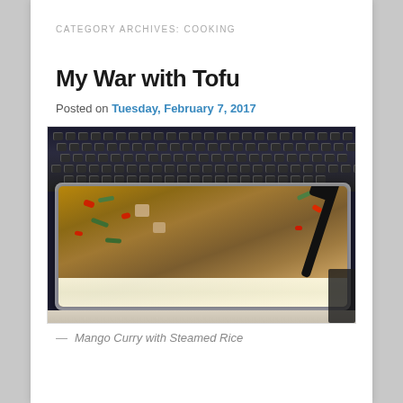CATEGORY ARCHIVES: COOKING
My War with Tofu
Posted on Tuesday, February 7, 2017
[Figure (photo): A plastic food container with mango curry and steamed rice on a desk next to a keyboard, with a black fork/spoon in the food.]
— Mango Curry with Steamed Rice